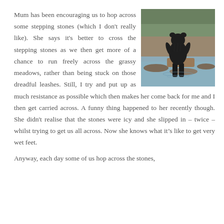Mum has been encouraging us to hop across some stepping stones (which I don't really like). She says it's better to cross the stepping stones as we then get more of a chance to run freely across the grassy meadows, rather than being stuck on those dreadful leashes. Still, I try and put up as much resistance as possible which then makes her come back for me and I then get carried across. A funny thing happened to her recently though. She didn't realise that the stones were icy and she slipped in – twice – whilst trying to get us all across. Now she knows what it's like to get very wet feet.
[Figure (photo): A black dog standing on stepping stones in a shallow stream, surrounded by rocks and water.]
Anyway, each day some of us hop across the stones,